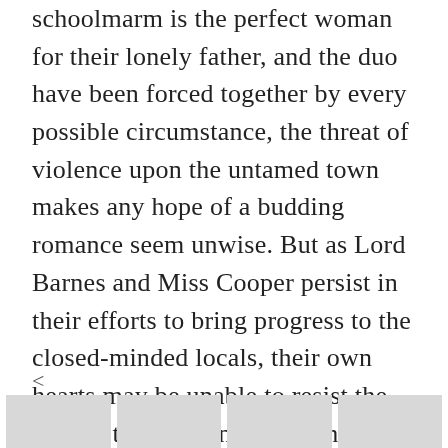schoolmarm is the perfect woman for their lonely father, and the duo have been forced together by every possible circumstance, the threat of violence upon the untamed town makes any hope of a budding romance seem unwise. But as Lord Barnes and Miss Cooper persist in their efforts to bring progress to the closed-minded locals, their own hearts may be unable to resist the chance to experience something as fresh and exhilarating as the unsettled mountain territory.
<
[Figure (other): Four thumbnail image placeholders in a horizontal row at the bottom of the page, displayed as light gray rectangles.]